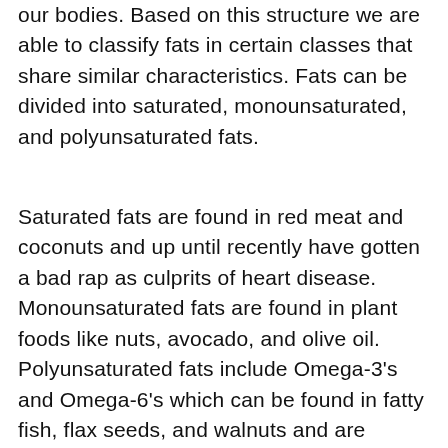our bodies. Based on this structure we are able to classify fats in certain classes that share similar characteristics. Fats can be divided into saturated, monounsaturated, and polyunsaturated fats.
Saturated fats are found in red meat and coconuts and up until recently have gotten a bad rap as culprits of heart disease. Monounsaturated fats are found in plant foods like nuts, avocado, and olive oil. Polyunsaturated fats include Omega-3's and Omega-6's which can be found in fatty fish, flax seeds, and walnuts and are associated with a variety of health benefits.